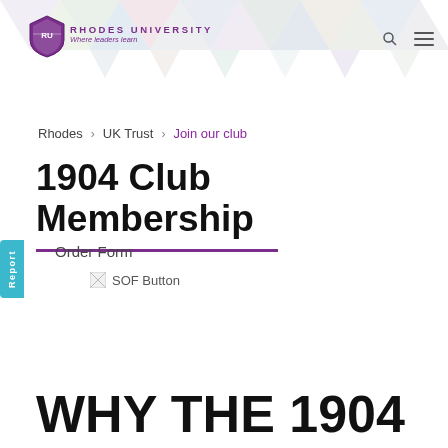Rhodes University — Where leaders learn
Rhodes > UK Trust > Join our club
1904 Club Membership
Order Form
[Figure (other): SOF Button — broken image placeholder with label 'SOF Button']
WHY THE 1904